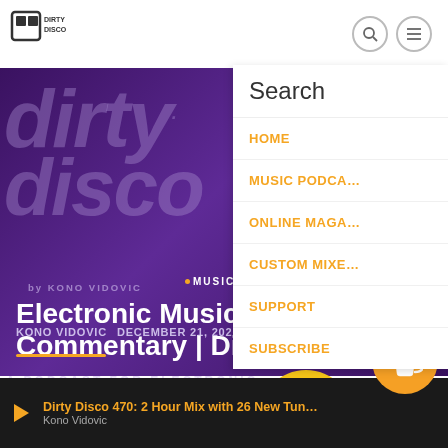Dirty Disco - navigation header with logo, search, and menu icons
[Figure (screenshot): Dirty Disco website screenshot showing purple branded background with large stylized 'dirty disco' text, play button, author byline 'by KONO VIDOVIC', MUSIC badge, main article title 'Electronic Music Selection Commentary | Dirty Disco', metadata line 'KONO VIDOVIC  DECEMBER 21, 2020  249 views', orange divider, and podcast text at bottom. Navigation panel on right shows Search, HOME, MUSIC PODCASTS, ONLINE MAGAZINE, CUSTOM MIXES, SUPPORT, SUBSCRIBE menu items in orange. Player bar at bottom shows Dirty Disco 470 podcast. Coffee/Buy Me a Coffee orange button bottom right.]
Electronic Music Selection Commentary | Dirty Disco
KONO VIDOVIC  DECEMBER 21, 2020  249
A PODCAST FOR ELECTRONIC
Dirty Disco 470: 2 Hour Mix with 26 New Tun... Kono Vidovic
HOME
MUSIC PODCASTS
ONLINE MAGAZINE
CUSTOM MIXES
SUPPORT
SUBSCRIBE